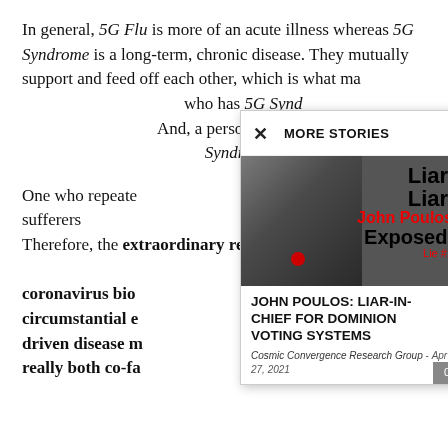In general, 5G Flu is more of an acute illness whereas 5G Syndrome is a long-term, chronic disease. They mutually support and feed off each other, which is what makes them so dangerous. And, a person who has 5G Syndrome is much more susceptible to 5G Flu, and vice versa. And, a person with 5G Flu is much more likely to develop 5G Syndrome.
[Figure (screenshot): Popup overlay showing 'MORE STORIES' header with X close button, an image of John Poulos with bold text 'Liar. Liar. John Poulos Exposed. Lie #1', article title 'JOHN POULOS: LIAR-IN-CHIEF FOR DOMINION VOTING SYSTEMS', byline 'Cosmic Convergence Research Group - Apr 27, 2021', and a counter showing 0.]
One who repeatedly gets 5G Flu, as many of the Chinese sufferers have, is at great risk of developing 5G Syndrome. Therefore, the extraordinary re-infection rates prove that the coronavirus bioweapon is real, and that the circumstantial evidence points to a 5G-tech-driven disease mechanism. But perhaps it's really both co-factors working in tandem.
Truly, the 'inexplicable' re-infection rates tell the hidden back story about this swiftly unfolding pandemic. The only plausible reason for multiple re-infections, when compared to all previously studied coronavirus outbreaks...